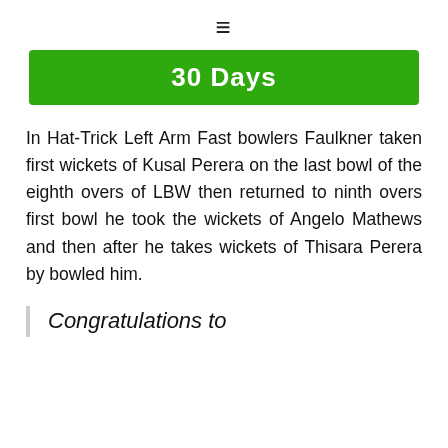≡
30 Days
In Hat-Trick Left Arm Fast bowlers Faulkner taken first wickets of Kusal Perera on the last bowl of the eighth overs of LBW then returned to ninth overs first bowl he took the wickets of Angelo Mathews and then after he takes wickets of Thisara Perera by bowled him.
Congratulations to